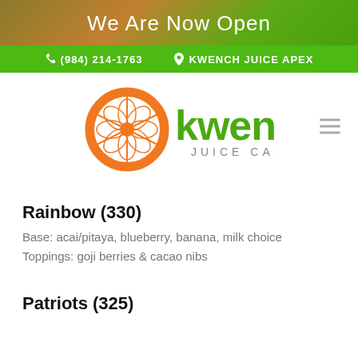We Are Now Open
(984) 214-1763   KWENCH JUICE APEX
[Figure (logo): Kwench Juice Cafe logo: orange citrus slice circle icon on the left, green 'kwench' text in large letters, 'JUICE CAFE' in smaller spaced letters below]
Rainbow (330)
Base: acai/pitaya, blueberry, banana, milk choice
Toppings: goji berries & cacao nibs
Patriots (325)